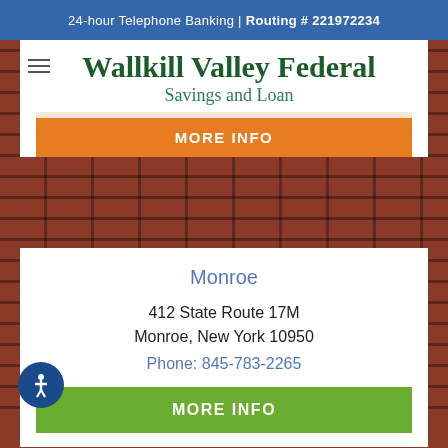24-hour Telephone Banking | Routing # 221972234
Wallkill Valley Federal
Savings and Loan
MORE INFO
Monroe
412 State Route 17M
Monroe, New York 10950
Phone: 845-783-2265
MORE INFO